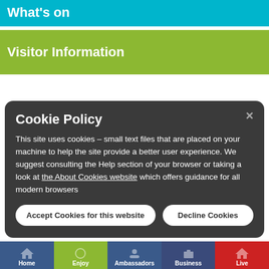What's on
Visitor Information
Cookie Policy
This site uses cookies – small text files that are placed on your machine to help the site provide a better user experience. We suggest consulting the Help section of your browser or taking a look at the About Cookies website which offers guidance for all modern browsers
Accept Cookies for this website
Decline Cookies
Home  Enjoy  Ambassadors  Business  Live